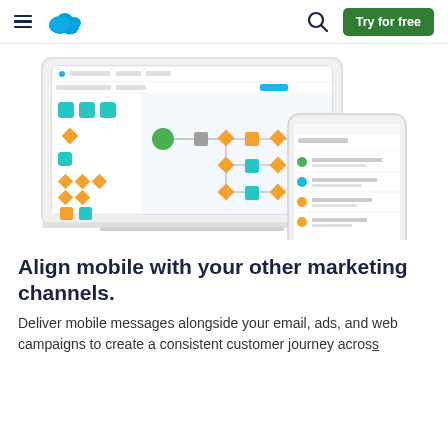Salesforce navigation bar with hamburger menu, cloud logo, search icon, and Try for free button
[Figure (screenshot): Screenshot of Salesforce Marketing Cloud journey builder on a laptop and a mobile phone showing the app interface with workflow diagrams and orange/teal icons]
Align mobile with your other marketing channels.
Deliver mobile messages alongside your email, ads, and web campaigns to create a consistent customer journey across…